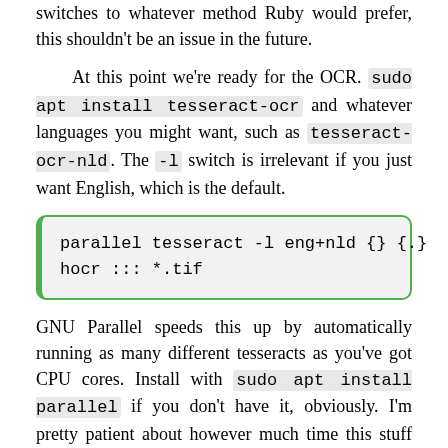switches to whatever method Ruby would prefer, this shouldn't be an issue in the future.
At this point we're ready for the OCR. sudo apt install tesseract-ocr and whatever languages you might want, such as tesseract-ocr-nld. The -l switch is irrelevant if you just want English, which is the default.
parallel tesseract -l eng+nld {} {.} hocr ::: *.tif
GNU Parallel speeds this up by automatically running as many different tesseracts as you've got CPU cores. Install with sudo apt install parallel if you don't have it, obviously. I'm pretty patient about however much time this stuff might take as long as it proceeds by itself without requiring any attention, but on my main computer this will make everything proceed almost four